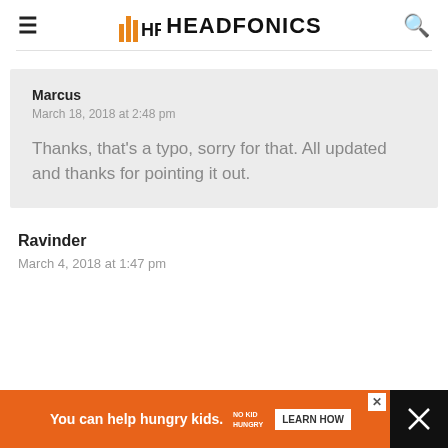HEADFONICS
Marcus
March 18, 2018 at 2:48 pm
Thanks, that's a typo, sorry for that. All updated and thanks for pointing it out.
Ravinder
March 4, 2018 at 1:47 pm
[Figure (screenshot): Advertisement banner: 'You can help hungry kids. NO KID HUNGRY LEARN HOW']